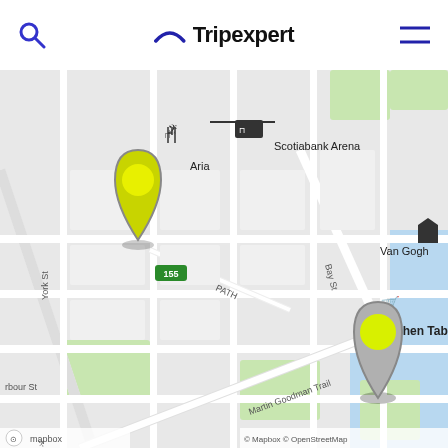Tripexpert
[Figure (map): Street map showing downtown Toronto area near Scotiabank Arena. Two yellow location pins are visible: one near Aria restaurant (upper left area) and one near Kitchen Table restaurant (lower right area). Map labels include Scotiabank Arena, Bay St, York St, Harbour St, Martin Goodman Trail, PATH, and route 155. Map attribution shows Mapbox and OpenStreetMap.]